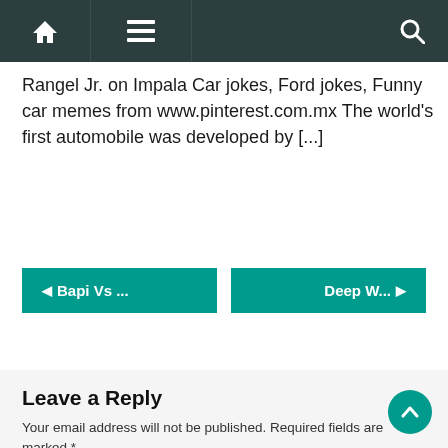Navigation bar with home, menu, and search icons
Rangel Jr. on Impala Car jokes, Ford jokes, Funny car memes from www.pinterest.com.mx The world’s first automobile was developed by [...]
◄ Bapi Vs ...
Deep W... ►
Leave a Reply
Your email address will not be published. Required fields are marked *
Comment *